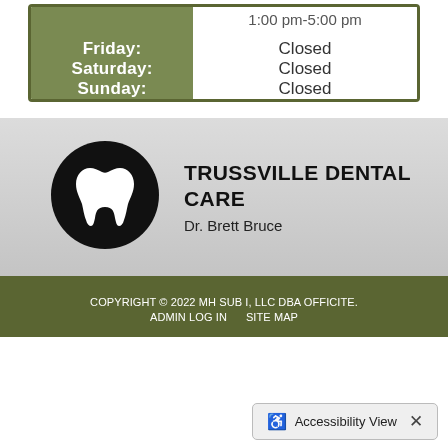| Day | Hours |
| --- | --- |
|  | 1:00 pm-5:00 pm |
| Friday: | Closed |
| Saturday: | Closed |
| Sunday: | Closed |
[Figure (logo): Trussville Dental Care logo: black circle with white tooth icon]
TRUSSVILLE DENTAL CARE
Dr. Brett Bruce
COPYRIGHT © 2022 MH SUB I, LLC DBA OFFICITE. ADMIN LOG IN    SITE MAP